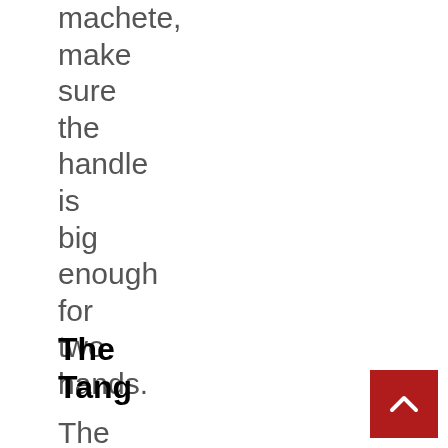machete, make sure the handle is big enough for two hands.
The Tang
The